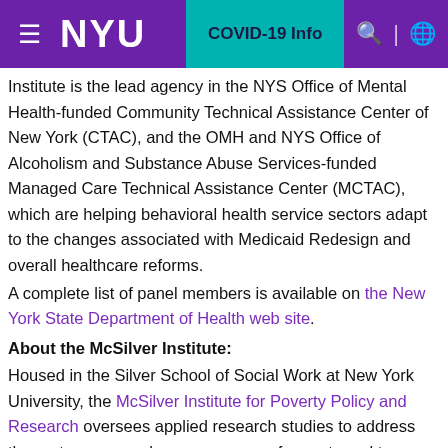NYU | COVID-19 Info
Institute is the lead agency in the NYS Office of Mental Health-funded Community Technical Assistance Center of New York (CTAC), and the OMH and NYS Office of Alcoholism and Substance Abuse Services-funded Managed Care Technical Assistance Center (MCTAC), which are helping behavioral health service sectors adapt to the changes associated with Medicaid Redesign and overall healthcare reforms.
A complete list of panel members is available on the New York State Department of Health web site.
About the McSilver Institute:
Housed in the Silver School of Social Work at New York University, the McSilver Institute for Poverty Policy and Research oversees applied research studies to address the root causes and consequences of poverty and to inform policy and program solutions. The McSilver Institute's work is defined by partnerships with policy makers, service organizations, and